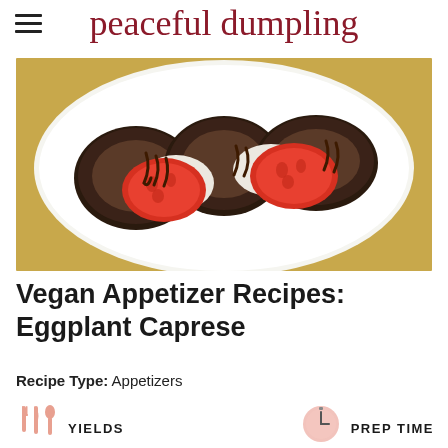peaceful dumpling
[Figure (photo): A white plate with sliced grilled eggplant and tomatoes arranged in a caprese style, drizzled with balsamic reduction, on a yellow background]
Vegan Appetizer Recipes: Eggplant Caprese
Recipe Type: Appetizers
[Figure (illustration): Utensils icon (fork, knife, spoon) in pink/salmon color next to YIELDS label]
[Figure (illustration): Clock/timer icon in pink/salmon color next to PREP TIME label]